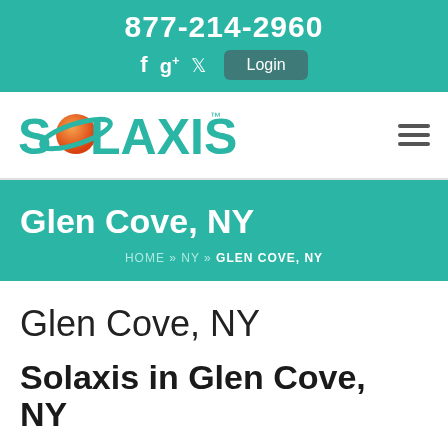877-214-2960
[Figure (logo): Solaxis logo with teal text and orange planet graphic]
Glen Cove, NY
HOME » NY » GLEN COVE, NY
Glen Cove, NY
Solaxis in Glen Cove, NY